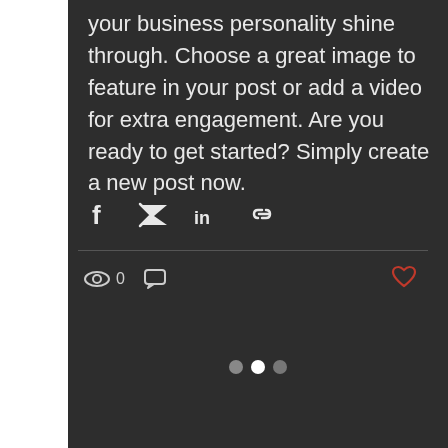your business personality shine through. Choose a great image to feature in your post or add a video for extra engagement. Are you ready to get started? Simply create a new post now.
[Figure (infographic): Social share icons: Facebook, Twitter, LinkedIn, and link/chain icon]
[Figure (infographic): Stats bar: eye/views icon with count 0, comment bubble icon; heart/like icon on the right (red outline)]
[Figure (infographic): Pagination dots: three dots — gray, white (active), dark gray]